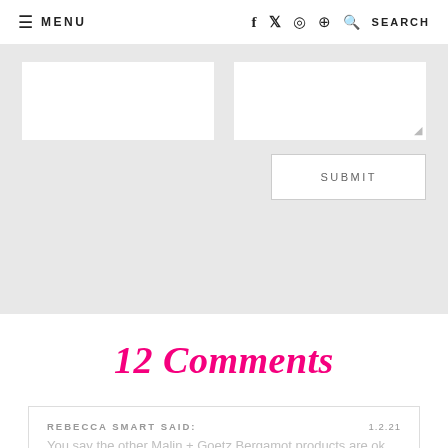≡ MENU   f  ✓  ⊙  ⊕  🔍 SEARCH
[Figure (screenshot): Comment submission form with two white input boxes side by side and a SUBMIT button on the right, on a light grey background]
12 Comments
REBECCA SMART SAID:    1.2.21
You say the other Malin + Goetz Bergamot products are ok but the deodorant isn't listed i...